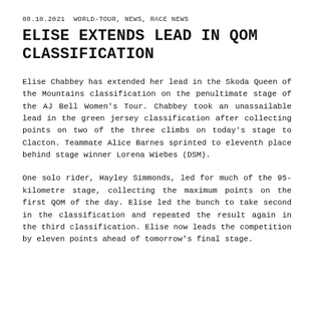08.10.2021  WORLD-TOUR, NEWS, RACE NEWS
ELISE EXTENDS LEAD IN QOM CLASSIFICATION
Elise Chabbey has extended her lead in the Skoda Queen of the Mountains classification on the penultimate stage of the AJ Bell Women's Tour. Chabbey took an unassailable lead in the green jersey classification after collecting points on two of the three climbs on today's stage to Clacton. Teammate Alice Barnes sprinted to eleventh place behind stage winner Lorena Wiebes (DSM).
One solo rider, Hayley Simmonds, led for much of the 95-kilometre stage, collecting the maximum points on the first QOM of the day. Elise led the bunch to take second in the classification and repeated the result again in the third classification. Elise now leads the competition by eleven points ahead of tomorrow's final stage.